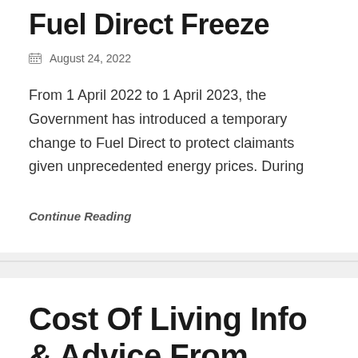Fuel Direct Freeze
August 24, 2022
From 1 April 2022 to 1 April 2023, the Government has introduced a temporary change to Fuel Direct to protect claimants given unprecedented energy prices. During
Continue Reading
Cost Of Living Info & Advice From Calderdale Council